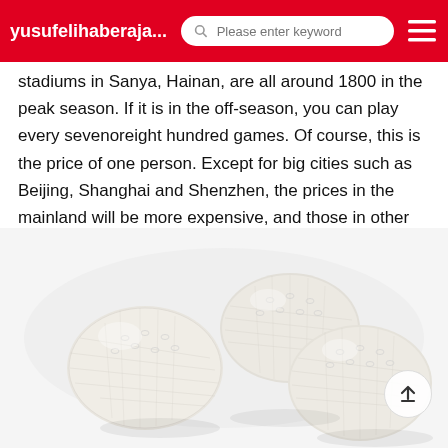yusufelihaberaja... | Please enter keyword
stadiums in Sanya, Hainan, are all around 1800 in the peak season. If it is in the off-season, you can play every sevenoreight hundred games. Of course, this is the price of one person. Except for big cities such as Beijing, Shanghai and Shenzhen, the prices in the mainland will be more expensive, and those in other cities will be cheaperHow much is a golf ball
Golf on a single buy, second-hand general 5 or 10 A. New balls are sold by box. (usually 3 in a small box, and 4 in a large box) the most commonly used 3-layer ball: Taylor Made 3-layer ballHow much is a golf
[Figure (photo): Three white golf balls with dimpled texture on a white background, photographed close-up]